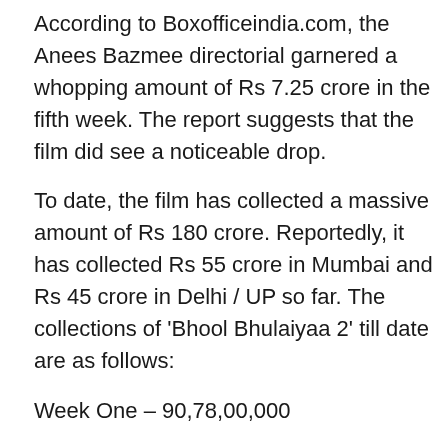According to Boxofficeindia.com, the Anees Bazmee directorial garnered a whopping amount of Rs 7.25 crore in the fifth week. The report suggests that the film did see a noticeable drop.
To date, the film has collected a massive amount of Rs 180 crore. Reportedly, it has collected Rs 55 crore in Mumbai and Rs 45 crore in Delhi / UP so far. The collections of 'Bhool Bhulaiyaa 2' till date are as follows:
Week One – 90,78,00,000
Week Two – 49,23,00,000
Week Three – 20,47,00,000